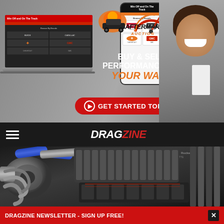[Figure (screenshot): Aftermarket Auction advertisement banner showing laptop, phone, logo, BUY & SELL PERFORMANCE YOUR WAY text, and GET STARTED TODAY button with a man smiling in the background]
DRAGZINE
[Figure (photo): Close-up photo of a high-performance drag racing engine with supercharger, turbo, blue intake piping, and exhaust manifolds]
DRAGZINE NEWSLETTER - SIGN UP FREE!